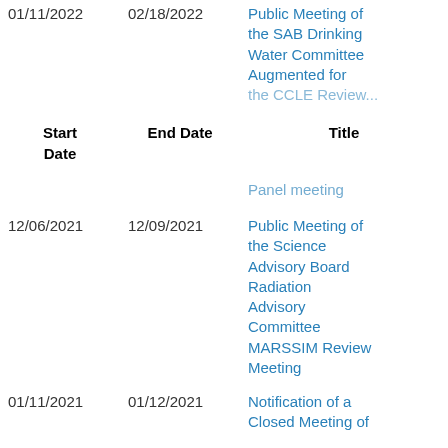| Start Date | End Date | Title |
| --- | --- | --- |
| 01/11/2022 | 02/18/2022 | Public Meeting of the SAB Drinking Water Committee Augmented for the CCLE Review... Panel meeting |
| 12/06/2021 | 12/09/2021 | Public Meeting of the Science Advisory Board Radiation Advisory Committee MARSSIM Review Meeting |
| 01/11/2021 | 01/12/2021 | Notification of a Closed Meeting of... |